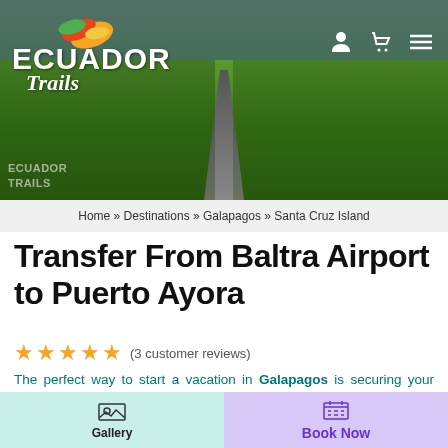[Figure (photo): Ecuador Trails website screenshot showing a hero banner with a lush green landscape and road leading into the distance, with the Ecuador Trails logo on the top left and navigation icons on top right]
Home » Destinations » Galapagos » Santa Cruz Island
Transfer From Baltra Airport to Puerto Ayora
★★★★★ (3 customer reviews)
The perfect way to start a vacation in Galapagos is securing your private transfer from Baltra airport to
Gallery
Book Now